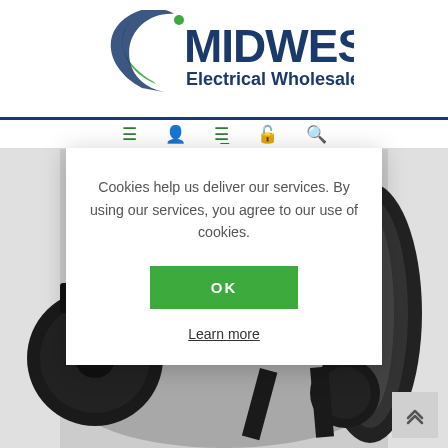[Figure (logo): Midwest Electrical Wholesale Ltd. company logo with green and navy blue circular swoosh design]
[Figure (photo): Product photo of an industrial cable reel/drum on wheels with black plastic wheels and silver/grey body]
Cookies help us deliver our services. By using our services, you agree to our use of cookies.
OK
Learn more